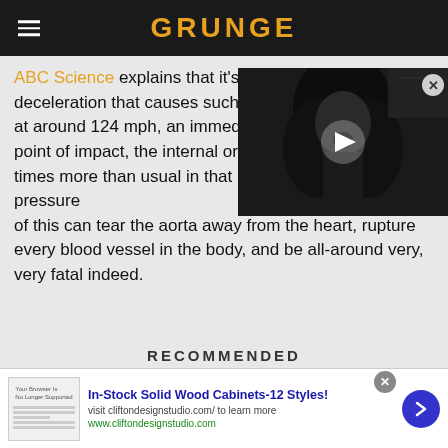GRUNGE
[Figure (photo): Black and white photo of a man with long hair singing or shouting, with a video play button overlay]
ABC Science explains that it's deceleration that causes such at around 124 mph, an immed point of impact, the internal organs weigh around 7,500 times more than usual in that brief instant. The pressure of this can tear the aorta away from the heart, rupture every blood vessel in the body, and be all-around very, very fatal indeed.
RECOMMENDED
In-Stock Solid Wood Cabinets-12 Styles!
visit cliftondesignstudio.com/ to learn more
www.cliftondesignstudio.com